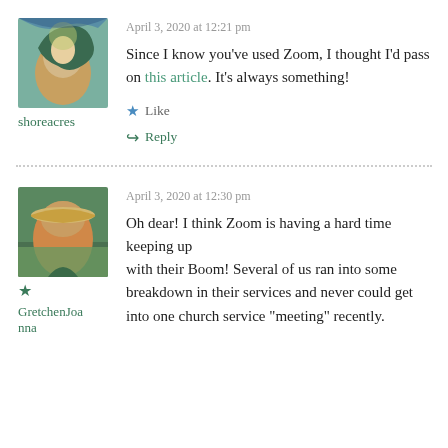April 3, 2020 at 12:21 pm
Since I know you've used Zoom, I thought I'd pass on this article. It's always something!
shoreacres
Like
Reply
April 3, 2020 at 12:30 pm
GretchenJoanna
Oh dear! I think Zoom is having a hard time keeping up with their Boom! Several of us ran into some breakdown in their services and never could get into one church service “meeting” recently.